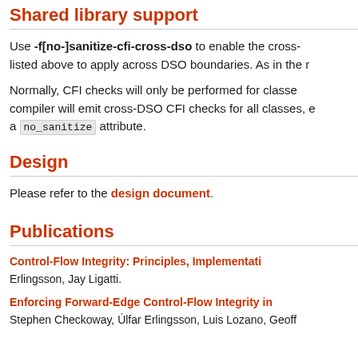Shared library support
Use -f[no-]sanitize-cfi-cross-dso to enable the cross- listed above to apply across DSO boundaries. As in the r
Normally, CFI checks will only be performed for classes compiler will emit cross-DSO CFI checks for all classes, e a no_sanitize attribute.
Design
Please refer to the design document.
Publications
Control-Flow Integrity: Principles, Implementati
Erlingsson, Jay Ligatti.
Enforcing Forward-Edge Control-Flow Integrity in
Stephen Checkoway, Úlfar Erlingsson, Luis Lozano, Geoff